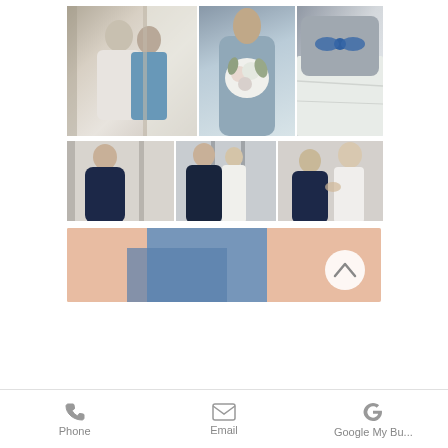[Figure (photo): Wedding photo collage row 1: three photos showing bride and mother sharing a moment by a window, bridesmaid in blue dress holding white flower bouquet, and decorative pillow with blue bow on a bed]
[Figure (photo): Wedding photo collage row 2: three photos showing woman in navy sequin off-shoulder dress, back view of woman in navy dress looking at bride in white dress through doorway, and close-up of navy-dressed woman buttoning the bride's dress]
[Figure (photo): Wedding photo collage row 3: close-up abstract photo of blue fabric/dress details with skin tones, with a scroll-to-top button overlaid]
Phone   Email   Google My Bu...